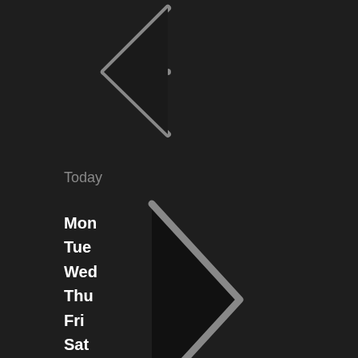[Figure (illustration): A left-pointing chevron/arrow icon in dark gray on a dark background, pointing upward-left]
Today
[Figure (illustration): A right-pointing chevron/arrow icon in dark gray on a dark background, pointing right]
Mon
Tue
Wed
Thu
Fri
Sat
Sun
Mon